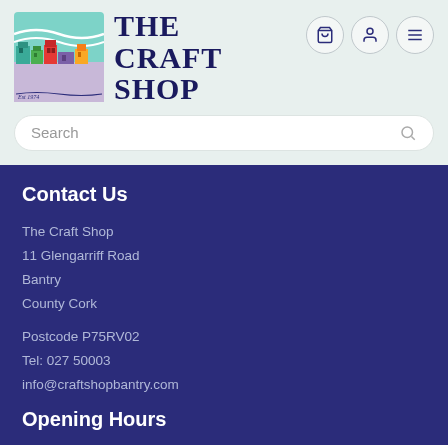[Figure (logo): The Craft Shop logo: illustrated row of colorful buildings (teal, green, red, purple, yellow) under wavy lines, with 'Est 1974' text, beside bold serif text 'THE CRAFT SHOP']
Contact Us
The Craft Shop
11 Glengarriff Road
Bantry
County Cork
Postcode P75RV02
Tel: 027 50003
info@craftshopbantry.com
Opening Hours